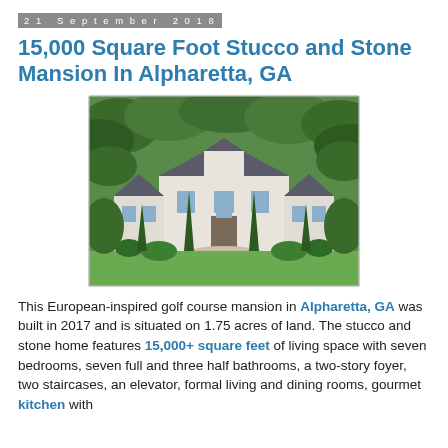21 September 2018
15,000 Square Foot Stucco and Stone Mansion In Alpharetta, GA
[Figure (photo): Aerial drone photo of a large European-inspired stucco and stone mansion with dark roofing, circular driveway, manicured landscaping, and tall evergreen trees, surrounded by dense green forest in Alpharetta, GA.]
This European-inspired golf course mansion in Alpharetta, GA was built in 2017 and is situated on 1.75 acres of land. The stucco and stone home features 15,000+ square feet of living space with seven bedrooms, seven full and three half bathrooms, a two-story foyer, two staircases, an elevator, formal living and dining rooms, gourmet kitchen with